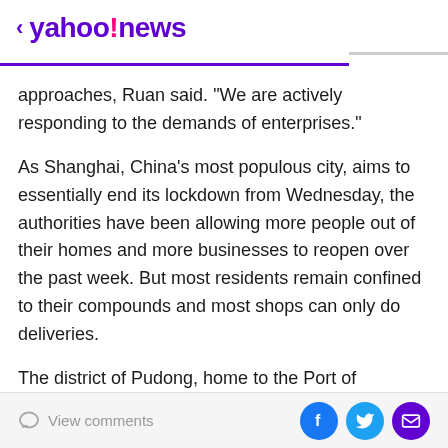< yahoo!news
approaches, Ruan said. "We are actively responding to the demands of enterprises."
As Shanghai, China's most populous city, aims to essentially end its lockdown from Wednesday, the authorities have been allowing more people out of their homes and more businesses to reopen over the past week. But most residents remain confined to their compounds and most shops can only do deliveries.
The district of Pudong, home to the Port of Shanghai, the city's largest airport and its main finance centre, reopened 115 bus routes on Friday. Shanghai is slowly expanding public transport after reopening four of its 20
View comments